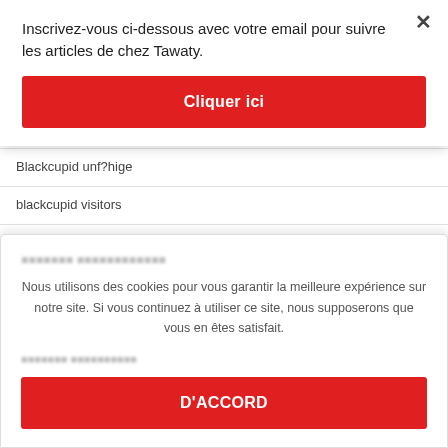Inscrivez-vous ci-dessous avec votre email pour suivre les articles de chez Tawaty.
Cliquer ici
Blackcupid unf?hige
blackcupid visitors
blackcupid web
blackcupid_NL reviews
Nous utilisons des cookies pour vous garantir la meilleure expérience sur notre site. Si vous continuez à utiliser ce site, nous supposerons que vous en êtes satisfait.
D'ACCORD
Blackfling hookup